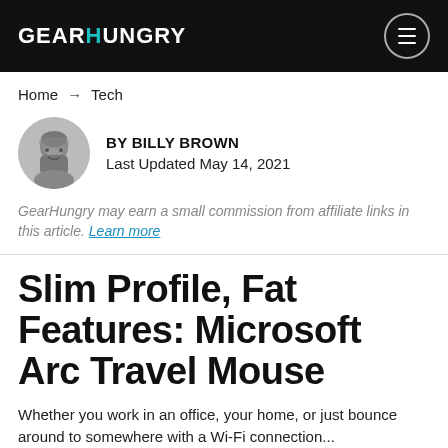GEARHUNGRY
Home → Tech
BY BILLY BROWN
Last Updated May 14, 2021
GearHungry may earn a small commission from affiliate links in this article. Learn more
Slim Profile, Fat Features: Microsoft Arc Travel Mouse
Whether you work in an office, your home, or just bounce around to somewhere with a Wi-Fi connection...